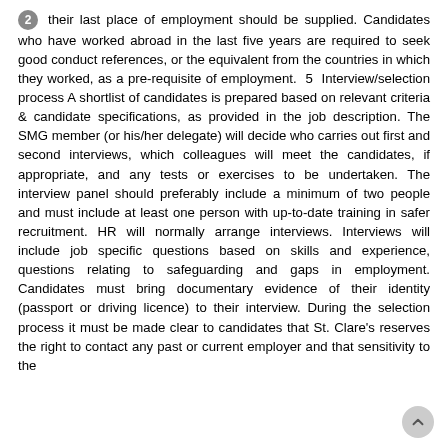2 their last place of employment should be supplied. Candidates who have worked abroad in the last five years are required to seek good conduct references, or the equivalent from the countries in which they worked, as a pre-requisite of employment. 5 Interview/selection process A shortlist of candidates is prepared based on relevant criteria & candidate specifications, as provided in the job description. The SMG member (or his/her delegate) will decide who carries out first and second interviews, which colleagues will meet the candidates, if appropriate, and any tests or exercises to be undertaken. The interview panel should preferably include a minimum of two people and must include at least one person with up-to-date training in safer recruitment. HR will normally arrange interviews. Interviews will include job specific questions based on skills and experience, questions relating to safeguarding and gaps in employment. Candidates must bring documentary evidence of their identity (passport or driving licence) to their interview. During the selection process it must be made clear to candidates that St. Clare's reserves the right to contact any past or current employer and that sensitivity to the [continues]